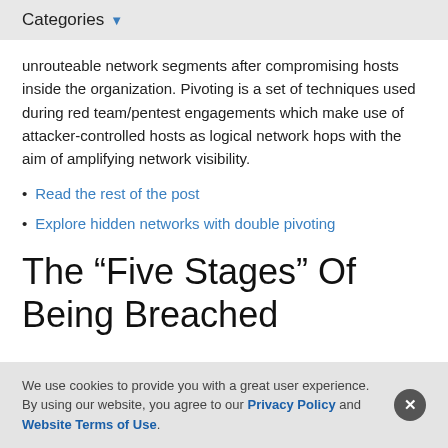Categories
unrouteable network segments after compromising hosts inside the organization. Pivoting is a set of techniques used during red team/pentest engagements which make use of attacker-controlled hosts as logical network hops with the aim of amplifying network visibility.
Read the rest of the post
Explore hidden networks with double pivoting
The “Five Stages” Of Being Breached
We use cookies to provide you with a great user experience. By using our website, you agree to our Privacy Policy and Website Terms of Use.